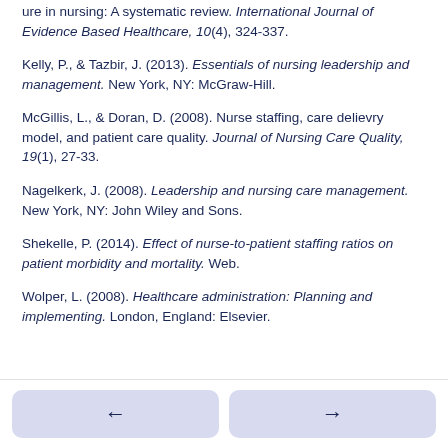ure in nursing: A systematic review. International Journal of Evidence Based Healthcare, 10(4), 324-337.
Kelly, P., & Tazbir, J. (2013). Essentials of nursing leadership and management. New York, NY: McGraw-Hill.
McGillis, L., & Doran, D. (2008). Nurse staffing, care delievry model, and patient care quality. Journal of Nursing Care Quality, 19(1), 27-33.
Nagelkerk, J. (2008). Leadership and nursing care management. New York, NY: John Wiley and Sons.
Shekelle, P. (2014). Effect of nurse-to-patient staffing ratios on patient morbidity and mortality. Web.
Wolper, L. (2008). Healthcare administration: Planning and implementing. London, England: Elsevier.